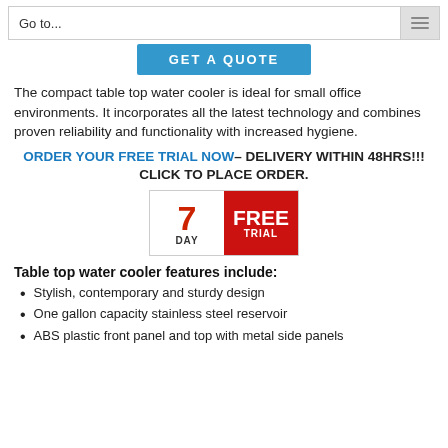Go to...
[Figure (other): Blue GET A QUOTE button]
The compact table top water cooler is ideal for small office environments. It incorporates all the latest technology and combines proven reliability and functionality with increased hygiene.
ORDER YOUR FREE TRIAL NOW– DELIVERY WITHIN 48HRS!!! CLICK TO PLACE ORDER.
[Figure (infographic): 7 DAY FREE TRIAL badge — left half white with red '7' and 'DAY', right half red with white 'FREE' and 'TRIAL']
Table top water cooler features include:
Stylish, contemporary and sturdy design
One gallon capacity stainless steel reservoir
ABS plastic front panel and top with metal side panels